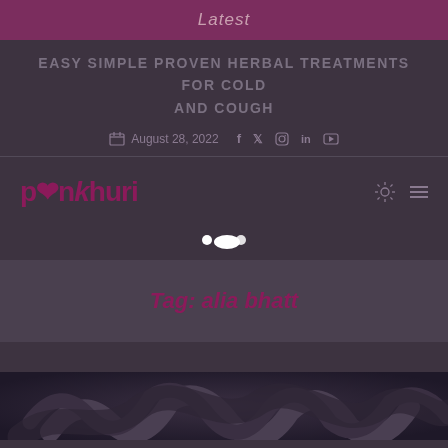Latest
EASY SIMPLE PROVEN HERBAL TREATMENTS FOR COLD AND COUGH
August 28, 2022
[Figure (logo): Pankhuri logo with heart icon in maroon/dark pink color]
Tag: alia bhatt
[Figure (photo): Decorative swirl pattern image at bottom of page, dark tones]